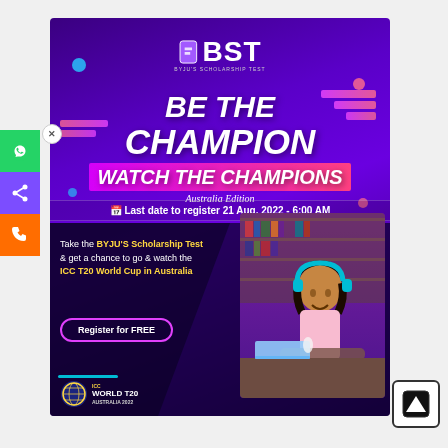[Figure (infographic): BYJU'S Scholarship Test (BST) promotional advertisement banner. Purple/violet gradient background with BST logo at top. Bold italic white text: 'BE THE CHAMPION / WATCH THE CHAMPIONS / Australia Edition'. Date bar: 'Last date to register 21 Aug, 2022 - 6:00 AM'. Left text block: 'Take the BYJU'S Scholarship Test & get a chance to go & watch the ICC T20 World Cup in Australia'. 'Register for FREE' button. Photo of smiling girl with headphones studying. ICC T20 World T20 Australia 2022 logo at bottom left. Side buttons: WhatsApp (green), share (purple), phone (orange). Close X button. Up arrow button at bottom right.]